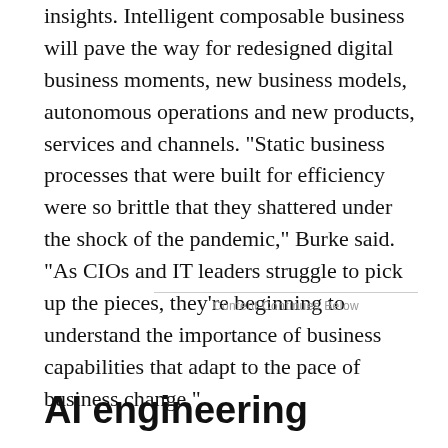insights. Intelligent composable business will pave the way for redesigned digital business moments, new business models, autonomous operations and new products, services and channels. "Static business processes that were built for efficiency were so brittle that they shattered under the shock of the pandemic," Burke said. "As CIOs and IT leaders struggle to pick up the pieces, they're beginning to understand the importance of business capabilities that adapt to the pace of business change."
Content Continues Below
AI engineering